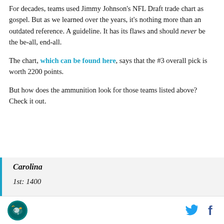For decades, teams used Jimmy Johnson's NFL Draft trade chart as gospel. But as we learned over the years, it's nothing more than an outdated reference. A guideline. It has its flaws and should never be the be-all, end-all.
The chart, which can be found here, says that the #3 overall pick is worth 2200 points.
But how does the ammunition look for those teams listed above? Check it out.
Carolina
1st: 1400
Dolphins logo | Twitter icon | Facebook icon